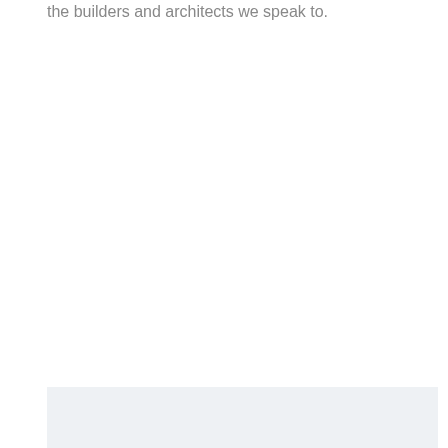the builders and architects we speak to.
[Figure (other): Light gray rectangular box at the bottom of the page]